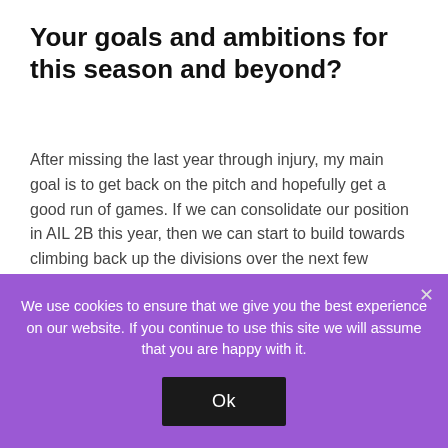Your goals and ambitions for this season and beyond?
After missing the last year through injury, my main goal is to get back on the pitch and hopefully get a good run of games. If we can consolidate our position in AIL 2B this year, then we can start to build towards climbing back up the divisions over the next few seasons.
Uncategorized
PREVIOUS POST
We use cookies to ensure that we give you the best experience on our website. If you continue to use this site we will assume that you are happy with it.